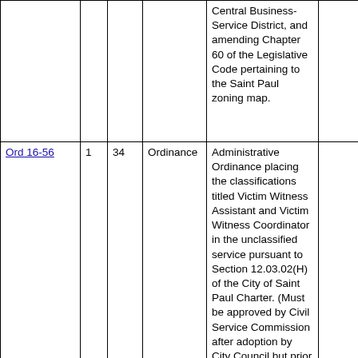|  |  |  |  | Central Business-Service District, and amending Chapter 60 of the Legislative Code pertaining to the Saint Paul zoning map. |  |
| Ord 16-56 | 1 | 34 | Ordinance | Administrative Ordinance placing the classifications titled Victim Witness Assistant and Victim Witness Coordinator in the unclassified service pursuant to Section 12.03.02(H) of the City of Saint Paul Charter. (Must be approved by Civil Service Commission after adoption by City Council but prior |  |